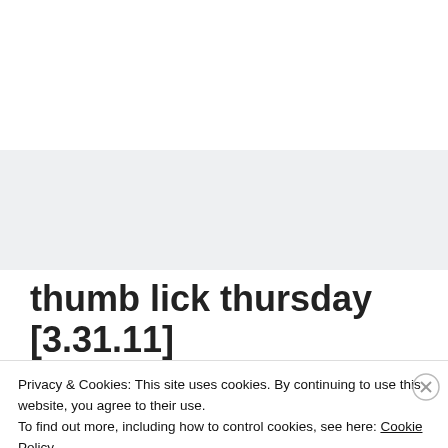[Figure (other): Top white area with gray banner below, representing website header region]
thumb lick thursday [3.31.11]
MARCH 31, 2011 · Posted in BIBLE, CHILDREN, COUNSELING, MARRIAGE, MISSIONS
Privacy & Cookies: This site uses cookies. By continuing to use this website, you agree to their use. To find out more, including how to control cookies, see here: Cookie Policy
Close and accept